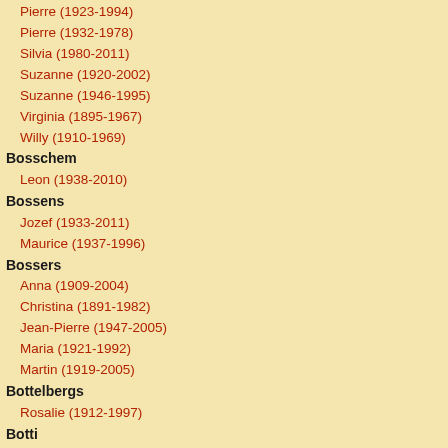Pierre (1923-1994)
Pierre (1932-1978)
Silvia (1980-2011)
Suzanne (1920-2002)
Suzanne (1946-1995)
Virginia (1895-1967)
Willy (1910-1969)
Bosschem
Leon (1938-2010)
Bossens
Jozef (1933-2011)
Maurice (1937-1996)
Bossers
Anna (1909-2004)
Christina (1891-1982)
Jean-Pierre (1947-2005)
Maria (1921-1992)
Martin (1919-2005)
Bottelbergs
Rosalie (1912-1997)
Botti
Maria (1903-1977)
Maria-Hubertina (1890-1972)
Maria-Louisa (1877-1968)
Pieter-Joseph (1879-1966)
Boudry
Jeanne (1914-2001)
Bouduin